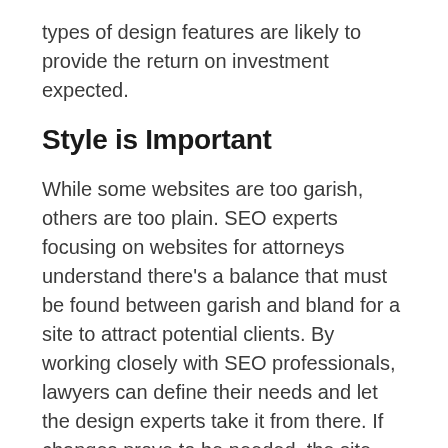types of design features are likely to provide the return on investment expected.
Style is Important
While some websites are too garish, others are too plain. SEO experts focusing on websites for attorneys understand there's a balance that must be found between garish and bland for a site to attract potential clients. By working closely with SEO professionals, lawyers can define their needs and let the design experts take it from there. If changes prove to be needed, the site designers can make any modifications needed.
Focus on Local Markets